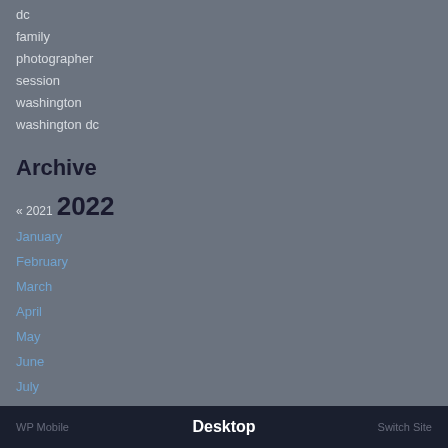dc
family
photographer
session
washington
washington dc
Archive
« 2021  2022
January
February
March
April
May
June
July
August
Desktop